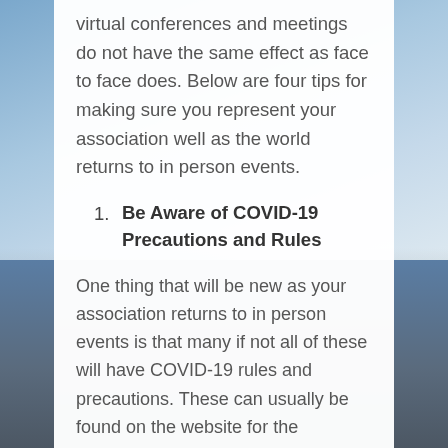virtual conferences and meetings do not have the same effect as face to face does. Below are four tips for making sure you represent your association well as the world returns to in person events.
Be Aware of COVID-19 Precautions and Rules
One thing that will be new as your association returns to in person events is that many if not all of these will have COVID-19 rules and precautions. These can usually be found on the website for the conference or event or will be